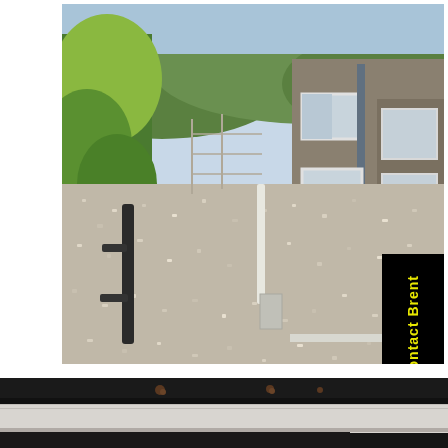[Figure (photo): Outdoor photograph showing a long gravel driveway or path leading toward a chain-link fence and gate in the distance. On the left side are green hedges and bushes, and on the right is a single-storey grey/brown house with white-framed windows. Hills with green trees are visible in the background under a blue sky.]
[Figure (photo): Close-up photograph of a dark metal structural element or roofing detail, showing black metal beams or rails against a light background, with a few rust spots visible.]